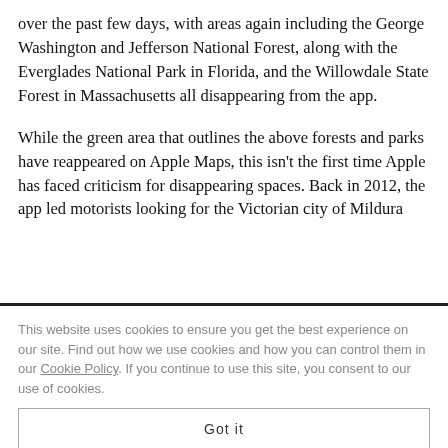over the past few days, with areas again including the George Washington and Jefferson National Forest, along with the Everglades National Park in Florida, and the Willowdale State Forest in Massachusetts all disappearing from the app.
While the green area that outlines the above forests and parks have reappeared on Apple Maps, this isn’t the first time Apple has faced criticism for disappearing spaces. Back in 2012, the app led motorists looking for the Victorian city of Mildura
This website uses cookies to ensure you get the best experience on our site. Find out how we use cookies and how you can control them in our Cookie Policy. If you continue to use this site, you consent to our use of cookies.
Got it